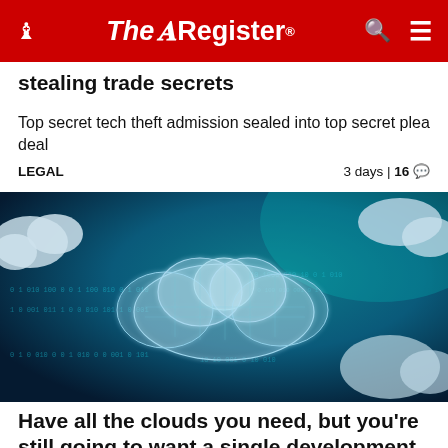The Register
stealing trade secrets
Top secret tech theft admission sealed into top secret plea deal
LEGAL   3 days | 16 comments
[Figure (photo): Digital cloud computing concept - glowing wireframe cloud icon over dark blue background with binary code data streams and clouds]
Have all the clouds you need, but you're still going to want a single development platform